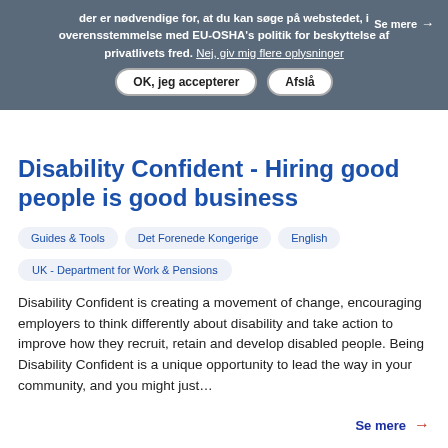der er nødvendige for, at du kan søge på webstedet, i overensstemmelse med EU-OSHA's politik for beskyttelse af privatlivets fred. Nej, giv mig flere oplysninger
OK, jeg accepterer | Afslå
Disability Confident - Hiring good people is good business
Guides & Tools
Det Forenede Kongerige
English
UK - Department for Work & Pensions
Disability Confident is creating a movement of change, encouraging employers to think differently about disability and take action to improve how they recruit, retain and develop disabled people. Being Disability Confident is a unique opportunity to lead the way in your community, and you might just…
Se mere →